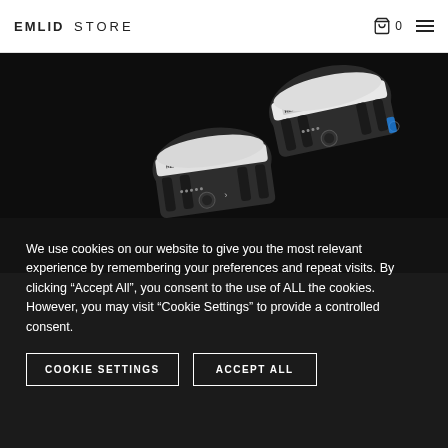EMLID STORE
[Figure (photo): Two Emlid Reach RS2+ GNSS receivers shown from above at an angle, on a dark/black background. The devices are compact, cylindrical with grey and white coloring, featuring the REACH RS2+ label visible on both units.]
We use cookies on our website to give you the most relevant experience by remembering your preferences and repeat visits. By clicking “Accept All”, you consent to the use of ALL the cookies. However, you may visit "Cookie Settings" to provide a controlled consent.
COOKIE SETTINGS
ACCEPT ALL